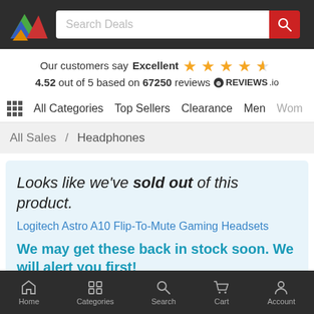[Figure (screenshot): App header bar with colorful triangles logo on dark background and search bar with red search button]
Our customers say Excellent ★★★★½ 4.52 out of 5 based on 67250 reviews ⊕REVIEWS.io
⊞ All Categories   Top Sellers   Clearance   Men   Wom
All Sales / Headphones
Looks like we've sold out of this product.
Logitech Astro A10 Flip-To-Mute Gaming Headsets
We may get these back in stock soon. We will alert you first!
Home   Categories   Search   Cart   Account